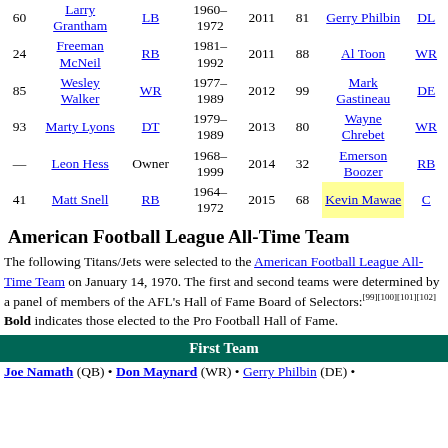| # | Name | Pos | Years | Year | # | Name | Pos |
| --- | --- | --- | --- | --- | --- | --- | --- |
| 60 | Larry Grantham | LB | 1960–1972 | 2011 | 81 | Gerry Philbin | DL |
| 24 | Freeman McNeil | RB | 1981–1992 | 2011 | 88 | Al Toon | WR |
| 85 | Wesley Walker | WR | 1977–1989 | 2012 | 99 | Mark Gastineau | DE |
| 93 | Marty Lyons | DT | 1979–1989 | 2013 | 80 | Wayne Chrebet | WR |
| — | Leon Hess | Owner | 1968–1999 | 2014 | 32 | Emerson Boozer | RB |
| 41 | Matt Snell | RB | 1964–1972 | 2015 | 68 | Kevin Mawae [highlighted] | C |
American Football League All-Time Team
The following Titans/Jets were selected to the American Football League All-Time Team on January 14, 1970. The first and second teams were determined by a panel of members of the AFL's Hall of Fame Board of Selectors:[99][100][101][102] Bold indicates those elected to the Pro Football Hall of Fame.
First Team
Joe Namath (QB) • Don Maynard (WR) • Gerry Philbin (DE) •